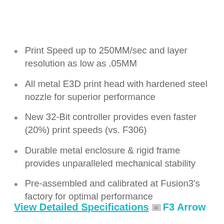Print Speed up to 250MM/sec and layer resolution as low as .05MM
All metal E3D print head with hardened steel nozzle for superior performance
New 32-Bit controller provides even faster (20%) print speeds (vs. F306)
Durable metal enclosure & rigid frame provides unparalleled mechanical stability
Pre-assembled and calibrated at Fusion3's factory for optimal performance
View Detailed Specifications F3 Arrow